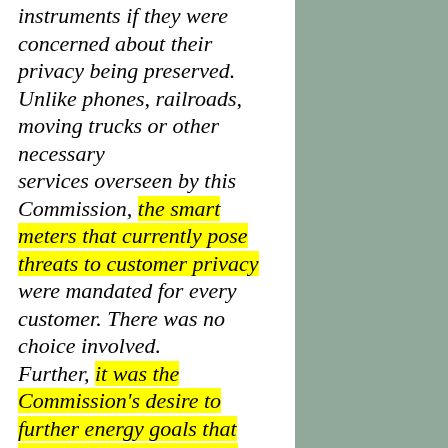instruments if they were concerned about their privacy being preserved. Unlike phones, railroads, moving trucks or other necessary services overseen by this Commission, the smart meters that currently pose threats to customer privacy were mandated for every customer. There was no choice involved. Further, it was the Commission's desire to further energy goals that caused it to extend smart meter installation universally. Thus, at every step of the way, the